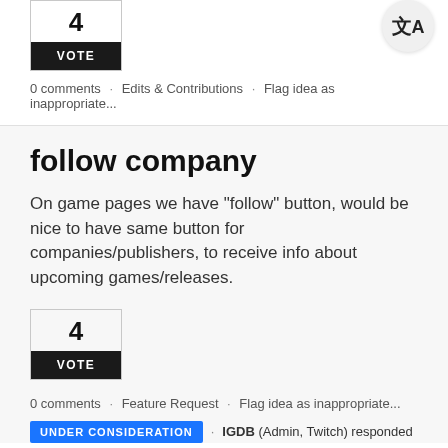4
VOTE
0 comments · Edits & Contributions · Flag idea as inappropriate...
follow company
On game pages we have "follow" button, would be nice to have same button for companies/publishers, to receive info about upcoming games/releases.
4
VOTE
0 comments · Feature Request · Flag idea as inappropriate...
UNDER CONSIDERATION · IGDB (Admin, Twitch) responded